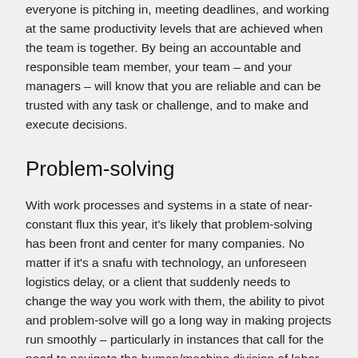everyone is pitching in, meeting deadlines, and working at the same productivity levels that are achieved when the team is together. By being an accountable and responsible team member, your team – and your managers – will know that you are reliable and can be trusted with any task or challenge, and to make and execute decisions.
Problem-solving
With work processes and systems in a state of near-constant flux this year, it's likely that problem-solving has been front and center for many companies. No matter if it's a snafu with technology, an unforeseen logistics delay, or a client that suddenly needs to change the way you work with them, the ability to pivot and problem-solve will go a long way in making projects run smoothly – particularly in instances that call for the need to navigate the human/machine division of labor.
This isn't always the easiest task and can require a shift in mindset – especially if you're a person who values order and processes – but try to remind yourself that old ways of working may not be the best any longer, and then focus on